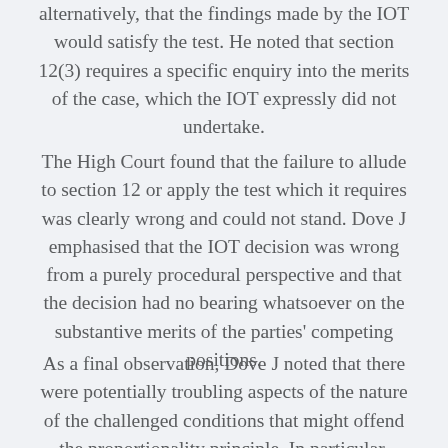alternatively, that the findings made by the IOT would satisfy the test. He noted that section 12(3) requires a specific enquiry into the merits of the case, which the IOT expressly did not undertake.
The High Court found that the failure to allude to section 12 or apply the test which it requires was clearly wrong and could not stand. Dove J emphasised that the IOT decision was wrong from a purely procedural perspective and that the decision had no bearing whatsoever on the substantive merits of the parties' competing positions.
As a final observation, Dove J noted that there were potentially troubling aspects of the nature of the challenged conditions that might offend the proportionality principle. In particular, condition 4 as it was drafted by the Panel would have prevented Dr